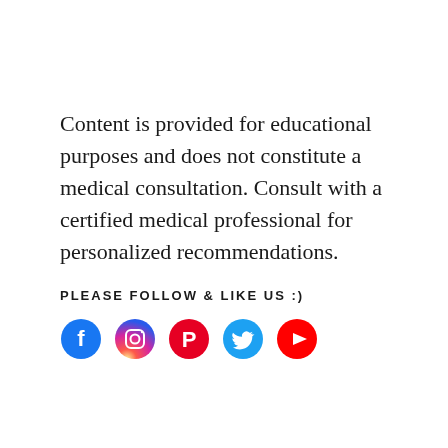Content is provided for educational purposes and does not constitute a medical consultation. Consult with a certified medical professional for personalized recommendations.
PLEASE FOLLOW & LIKE US :)
[Figure (illustration): Row of five social media icons: Facebook (blue circle with white f), Instagram (gradient circle with white camera icon), Pinterest (red circle with white P), Twitter (light blue circle with white bird), YouTube (red circle with white play button)]